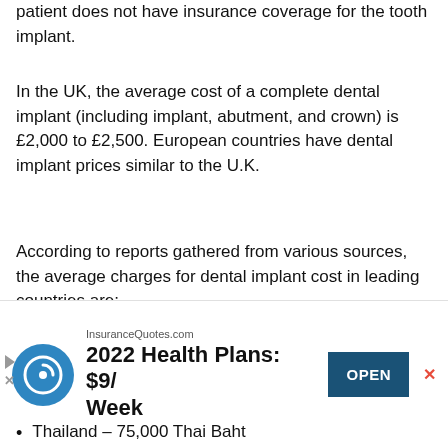patient does not have insurance coverage for the tooth implant.
In the UK, the average cost of a complete dental implant (including implant, abutment, and crown) is £2,000 to £2,500. European countries have dental implant prices similar to the U.K.
According to reports gathered from various sources, the average charges for dental implant cost in leading countries are:
The United States of America – $4,250
Canada – $4,000
Thailand – 75,000 Thai Baht
[Figure (infographic): Advertisement banner for InsuranceQuotes.com: '2022 Health Plans: $9/Week' with logo, OPEN button, and close X.]